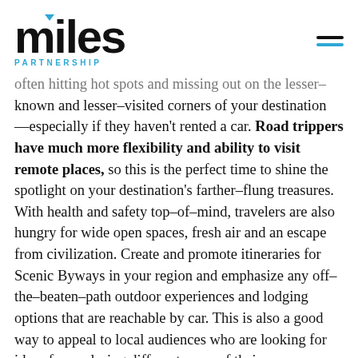miles PARTNERSHIP
often hitting hot spots and missing out on the lesser-known and lesser-visited corners of your destination—especially if they haven't rented a car. Road trippers have much more flexibility and ability to visit remote places, so this is the perfect time to shine the spotlight on your destination's farther-flung treasures. With health and safety top-of-mind, travelers are also hungry for wide open spaces, fresh air and an escape from civilization. Create and promote itineraries for Scenic Byways in your region and emphasize any off-the-beaten-path outdoor experiences and lodging options that are reachable by car. This is also a good way to appeal to local audiences who are looking for ideas for exploring different areas of their own backyard.